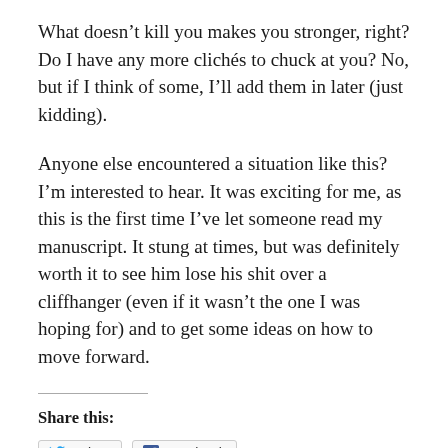What doesn't kill you makes you stronger, right? Do I have any more clichés to chuck at you? No, but if I think of some, I'll add them in later (just kidding).
Anyone else encountered a situation like this? I'm interested to hear. It was exciting for me, as this is the first time I've let someone read my manuscript. It stung at times, but was definitely worth it to see him lose his shit over a cliffhanger (even if it wasn't the one I was hoping for) and to get some ideas on how to move forward.
Share this: